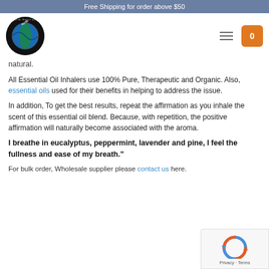Free Shipping for order above $50
[Figure (logo): Earth Solutions circular logo with globe and text 'be a part of the complete solution']
Natural.
All Essential Oil Inhalers use 100% Pure, Therapeutic and Organic. Also, essential oils used for their benefits in helping to address the issue.
In addition, To get the best results, repeat the affirmation as you inhale the scent of this essential oil blend. Because, with repetition, the positive affirmation will naturally become associated with the aroma.
I breathe in eucalyptus, peppermint, lavender and pine, I feel the fullness and ease of my breath."
For bulk order, Wholesale supplier please contact us here.
[Figure (other): Google reCAPTCHA privacy badge with circular arrow logo, Privacy and Terms links]